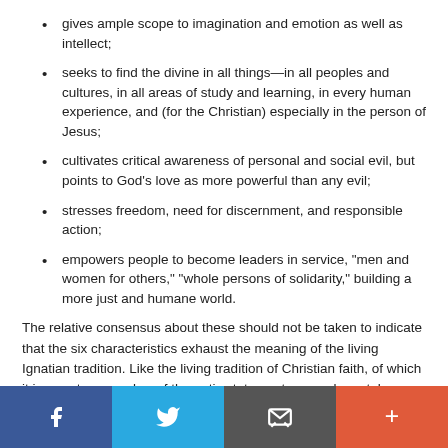gives ample scope to imagination and emotion as well as intellect;
seeks to find the divine in all things—in all peoples and cultures, in all areas of study and learning, in every human experience, and (for the Christian) especially in the person of Jesus;
cultivates critical awareness of personal and social evil, but points to God's love as more powerful than any evil;
stresses freedom, need for discernment, and responsible action;
empowers people to become leaders in service, "men and women for others," "whole persons of solidarity," building a more just and humane world.
The relative consensus about these should not be taken to indicate that the six characteristics exhaust the meaning of the living Ignatian tradition. Like the living tradition of Christian faith, of which it is a part, no number of thematic statements can adequately articulate it. At the heart of both traditions stands the living person of Jesus, who cannot be reduced to a series of ideas.
A second limit of these six characteristics concerns the
Share buttons: Facebook, Twitter, Email, Plus